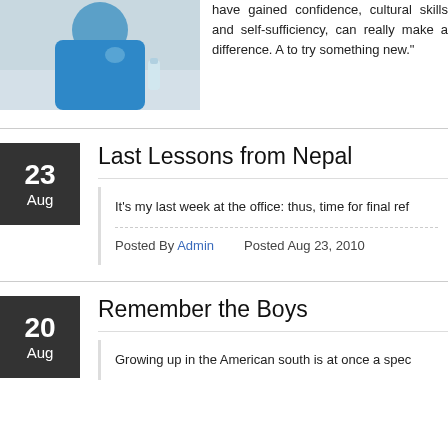[Figure (photo): Photo of a person wearing a blue garment, partial view, top of page]
have gained confidence, cultural skills and self-sufficiency, can really make a difference. And to try something new."
Last Lessons from Nepal
It's my last week at the office: thus, time for final ref
Posted By Admin   Posted Aug 23, 2010
Remember the Boys
Growing up in the American south is at once a spec